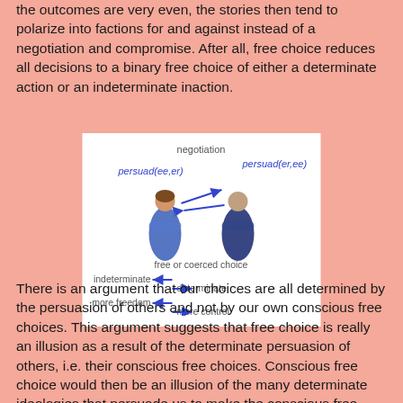the outcomes are very even, the stories then tend to polarize into factions for and against instead of a negotiation and compromise. After all, free choice reduces all decisions to a binary free choice of either a determinate action or an indeterminate inaction.
[Figure (illustration): Diagram showing two figures negotiating (persuad(ee,er) and persuad(er,ee)), with arrows indicating free or coerced choice: indeterminate (left arrow) and determinate (right arrow), and more freedom (left arrow) and more control (right arrow).]
There is an argument that our choices are all determined by the persuasion of others and not by our own conscious free choices. This argument suggests that free choice is really an illusion as a result of the determinate persuasion of others, i.e. their conscious free choices. Conscious free choice would then be an illusion of the many determinate ideologies that persuade us to make the conscious free choices that we